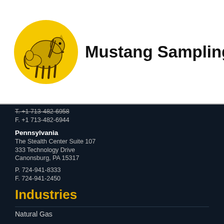[Figure (logo): Mustang Sampling logo with a yellow circle containing a horse illustration and bold text reading Mustang Sampling with registered trademark symbol]
T. +1 713-482-6958
F. +1 713-482-6944
Pennsylvania
The Stealth Center Suite 107
333 Technology Drive
Canonsburg, PA 15317
P. 724-941-8333
F. 724-941-2450
Industries
Natural Gas
Liquefied Natural Gas
Natural Gas Liquids